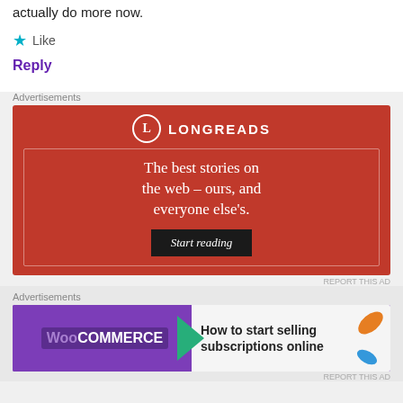actually do more now.
★ Like
Reply
Advertisements
[Figure (other): Longreads advertisement. Red background with logo (circle with L, LONGREADS text), tagline 'The best stories on the web – ours, and everyone else's.' and a 'Start reading' button.]
REPORT THIS AD
Advertisements
[Figure (other): WooCommerce advertisement. Purple background on left with WooCommerce logo and green arrow, right side light gray with text 'How to start selling subscriptions online' and decorative leaf shapes.]